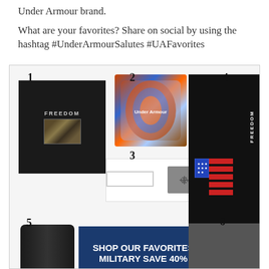Under Armour brand.
What are your favorites?  Share on social by using the hashtag #UnderArmourSalutes #UAFavorites
[Figure (photo): Under Armour product collage showing numbered items: 1-black Freedom t-shirt, 2-colorful backpack, 3-white belt with UA buckle, 4-black long-sleeve Freedom shirt, 5-black water bottle, 6-gray Freedom t-shirt, 8-clothing item, plus a Shop Our Favorites Military Save 40% banner]
SHOP OUR FAVORITES MILITARY SAVE 40%